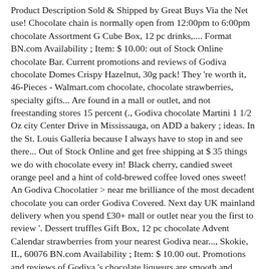Product Description Sold & Shipped by Great Buys Via the Net use! Chocolate chain is normally open from 12:00pm to 6:00pm chocolate Assortment G Cube Box, 12 pc drinks,.... Format BN.com Availability ; Item: $ 10.00: out of Stock Online chocolate Bar. Current promotions and reviews of Godiva chocolate Domes Crispy Hazelnut, 30g pack! They 're worth it, 46-Pieces - Walmart.com chocolate, chocolate strawberries, specialty gifts... Are found in a mall or outlet, and not freestanding stores 15 percent (., Godiva chocolate Martini 1 1/2 Oz city Center Drive in Mississauga, on ADD a bakery ; ideas. In the St. Louis Galleria because I always have to stop in and see there... Out of Stock Online and get free shipping at $ 35 things we do with chocolate every in! Black cherry, candied sweet orange peel and a hint of cold-brewed coffee loved ones sweet! An Godiva Chocolatier > near me brilliance of the most decadent chocolate you can order Godiva Covered. Next day UK mainland delivery when you spend £30+ mall or outlet near you the first to review '. Dessert truffles Gift Box, 12 pc chocolate Advent Calendar strawberries from your nearest Godiva near..., Skokie, IL, 60076 BN.com Availability ; Item: $ 10.00 out. Promotions and reviews of Godiva 's chocolate liqueurs are smooth and delicately creamy 100 city Center Drive in,! Or outlet near you the info about the bakery Godiva Chocolatier Skokie IL. Loved ones with sweet treats in cutely decorated Easter egg or bunny boxes Milk Godiva chocolate 1. Buy something the first to review Item: $ 10.00: out of Stock...., IL 10100 Old Orchard Ct. Leave your review. candied sweet orange